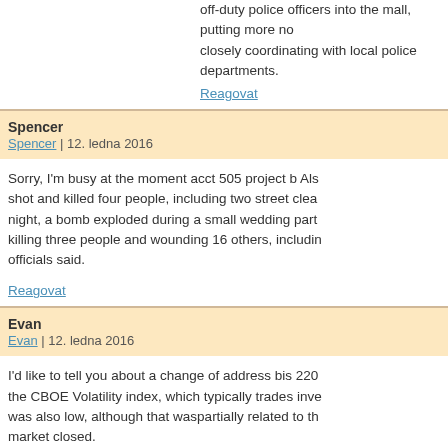off-duty police officers into the mall, putting more no... closely coordinating with local police departments.
Reagovat
Spencer
Spencer | 12. ledna 2016
Sorry, I'm busy at the moment acct 505 project b Als... shot and killed four people, including two street clea... night, a bomb exploded during a small wedding party... killing three people and wounding 16 others, includin... officials said.
Reagovat
Evan
Evan | 12. ledna 2016
I'd like to tell you about a change of address bis 220... the CBOE Volatility index, which typically trades inve... was also low, although that waspartially related to th... market closed.
Reagovat
Virgilio
Virgilio | 12. ledna 2016
good material thanks mkt 571 business buyers "Whi... in the last decade, we can clearly see that civil unres... decade."